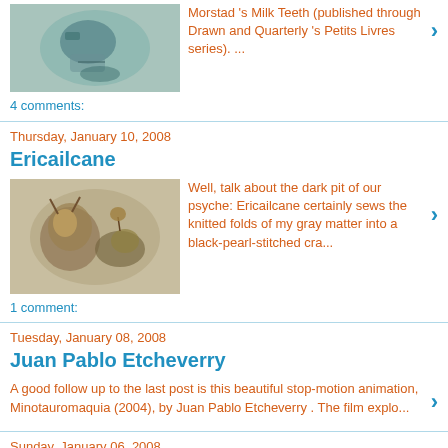[Figure (illustration): Small thumbnail image of a bearded figure with fish]
Morstad 's Milk Teeth (published through Drawn and Quarterly 's Petits Livres series). ...
4 comments:
Thursday, January 10, 2008
Ericailcane
[Figure (illustration): Small thumbnail image of two figures fighting, a rabbit and a smaller creature]
Well, talk about the dark pit of our psyche: Ericailcane certainly sews the knitted folds of my gray matter into a black-pearl-stitched cra...
1 comment:
Tuesday, January 08, 2008
Juan Pablo Etcheverry
A good follow up to the last post is this beautiful stop-motion animation, Minotauromaquia (2004), by Juan Pablo Etcheverry . The film explo...
Sunday, January 06, 2008